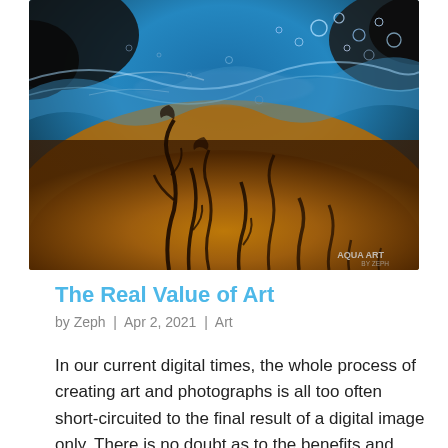[Figure (photo): Close-up underwater or water-surface photograph showing water bubbles, aquatic plants/seaweed silhouettes, golden/amber tones at bottom and deep blue sky at top. Watermark reads 'AQUA ART' in lower right corner.]
The Real Value of Art
by Zeph | Apr 2, 2021 | Art
In our current digital times, the whole process of creating art and photographs is all too often short-circuited to the final result of a digital image only. There is no doubt as to the benefits and advantages of what we can